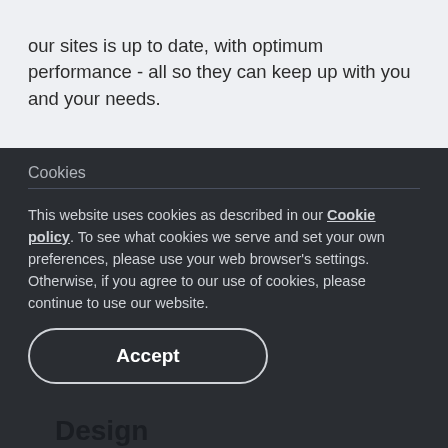our sites is up to date, with optimum performance - all so they can keep up with you and your needs.
Cookies
This website uses cookies as described in our Cookie policy. To see what cookies we serve and set your own preferences, please use your web browser's settings. Otherwise, if you agree to our use of cookies, please continue to use our website.
Design
We make sure your website not only looks great, but also feels great. Our designs are user-friendly, on brand and in line with your company strategy.
Accept